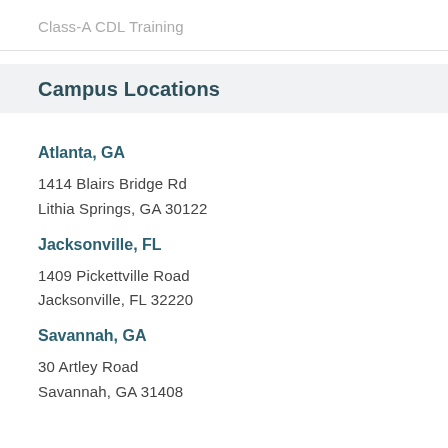Class-A CDL Training
Campus Locations
Atlanta, GA
1414 Blairs Bridge Rd
Lithia Springs, GA 30122
Jacksonville, FL
1409 Pickettville Road
Jacksonville, FL 32220
Savannah, GA
30 Artley Road
Savannah, GA 31408